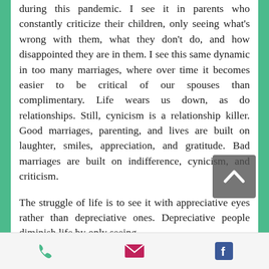during this pandemic. I see it in parents who constantly criticize their children, only seeing what's wrong with them, what they don't do, and how disappointed they are in them. I see this same dynamic in too many marriages, where over time it becomes easier to be critical of our spouses than complimentary. Life wears us down, as do relationships. Still, cynicism is a relationship killer. Good marriages, parenting, and lives are built on laughter, smiles, appreciation, and gratitude. Bad marriages are built on indifference, cynicism, and criticism.

The struggle of life is to see it with appreciative eyes rather than depreciative ones. Depreciative people diminish life by only seeing
[Figure (other): A dark grey scroll-to-top button with an upward chevron arrow, overlaid on the text]
[Figure (other): App footer bar with three icons: phone (green), email/envelope (pink/magenta), and Facebook (blue)]